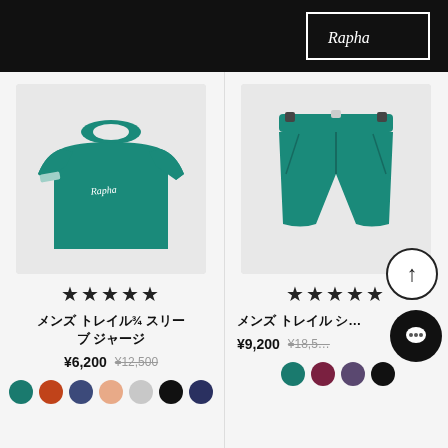Rapha (logo)
[Figure (photo): Teal/green Rapha men's trail 3/4 sleeve jersey on white background]
★★★★★
メンズ トレイル¾ スリーブ ジャージ
¥6,200 ¥12,500
[Figure (photo): Color swatches: teal, orange-red, navy blue, peach/salmon, light gray, black, dark navy]
[Figure (photo): Teal/green Rapha men's trail shorts on white background]
★★★★★
メンズ トレイル シ…
¥9,200 ¥18,5…
[Figure (photo): Color swatches: teal, burgundy/wine, dark purple/mauve, black]